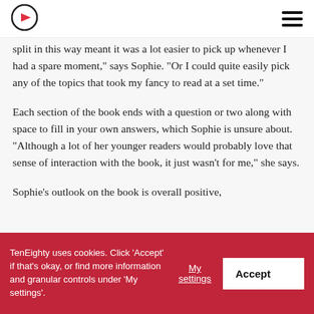TenEighty logo and navigation
split in this way meant it was a lot easier to pick up whenever I had a spare moment,” says Sophie. “Or I could quite easily pick any of the topics that took my fancy to read at a set time.”
Each section of the book ends with a question or two along with space to fill in your own answers, which Sophie is unsure about. “Although a lot of her younger readers would probably love that sense of interaction with the book, it just wasn’t for me,” she says.
Sophie’s outlook on the book is overall positive,
TenEighty uses cookies. Click ‘Accept’ if that’s okay, or find more information and granular controls under ‘My settings’.